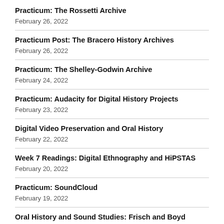Practicum: The Rossetti Archive
February 26, 2022
Practicum Post: The Bracero History Archives
February 26, 2022
Practicum: The Shelley-Godwin Archive
February 24, 2022
Practicum: Audacity for Digital History Projects
February 23, 2022
Digital Video Preservation and Oral History
February 22, 2022
Week 7 Readings: Digital Ethnography and HiPSTAS
February 20, 2022
Practicum: SoundCloud
February 19, 2022
Oral History and Sound Studies: Frisch and Boyd